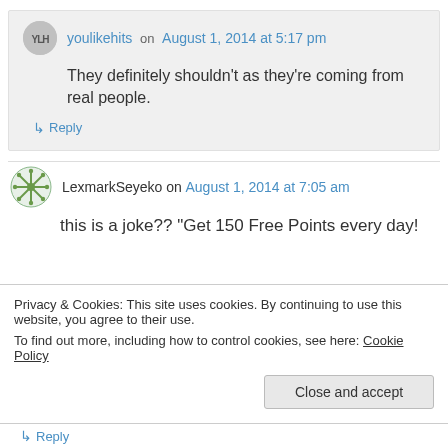youlikehits on August 1, 2014 at 5:17 pm
They definitely shouldn't as they're coming from real people.
↳ Reply
LexmarkSeyeko on August 1, 2014 at 7:05 am
this is a joke?? "Get 150 Free Points every day!
Privacy & Cookies: This site uses cookies. By continuing to use this website, you agree to their use.
To find out more, including how to control cookies, see here: Cookie Policy
Close and accept
↳ Reply